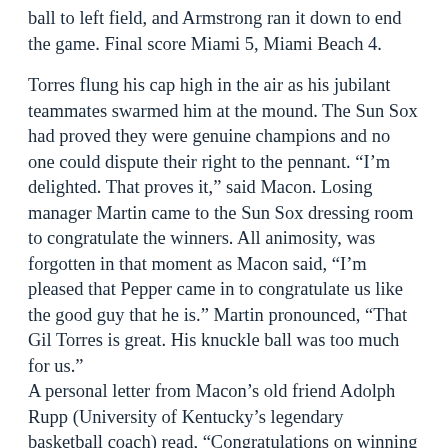ball to left field, and Armstrong ran it down to end the game. Final score Miami 5, Miami Beach 4.
Torres flung his cap high in the air as his jubilant teammates swarmed him at the mound. The Sun Sox had proved they were genuine champions and no one could dispute their right to the pennant. “I’m delighted. That proves it,” said Macon. Losing manager Martin came to the Sun Sox dressing room to congratulate the winners. All animosity, was forgotten in that moment as Macon said, “I’m pleased that Pepper came in to congratulate us like the good guy that he is.” Martin pronounced, “That Gil Torres is great. His knuckle ball was too much for us.” A personal letter from Macon’s old friend Adolph Rupp (University of Kentucky’s legendary basketball coach) read, “Congratulations on winning the championship. We were really pulling for you. This should help put you in line for a nice promotion one of these days.”
Macon concluded his thoughts by saying, “We came here to win the pennant. We didn’t come here to finish anywhere but first place and we did it. We had a bunch of fighting players and they would not give up. They